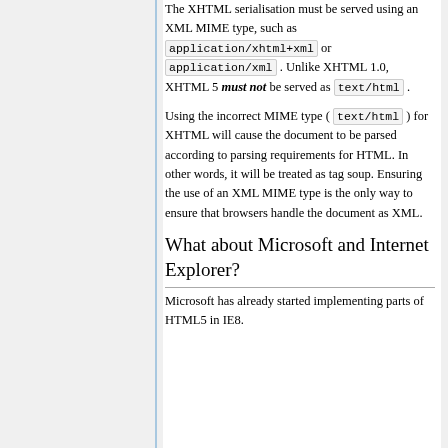The XHTML serialisation must be served using an XML MIME type, such as application/xhtml+xml or application/xml . Unlike XHTML 1.0, XHTML 5 must not be served as text/html .
Using the incorrect MIME type ( text/html ) for XHTML will cause the document to be parsed according to parsing requirements for HTML. In other words, it will be treated as tag soup. Ensuring the use of an XML MIME type is the only way to ensure that browsers handle the document as XML.
What about Microsoft and Internet Explorer?
Microsoft has already started implementing parts of HTML5 in IE8.